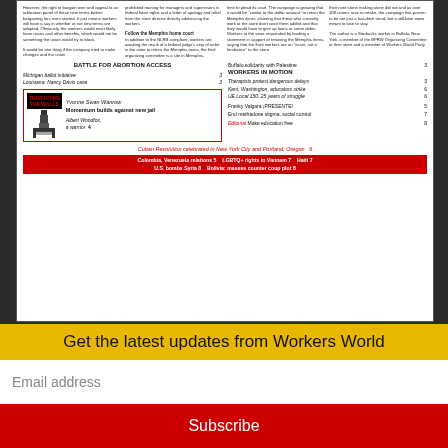[Figure (screenshot): Thumbnail of Workers World newspaper front page showing table of contents with sections on Battle for Abortion Access, Workers in Motion, Buffalo solidarity with Palestine, Franky Valgara, Make education free, and other topics. Includes a 'Tear Down the Walls' jail illustration box and red banner at bottom.]
Sept. 1, 2022 issue
Past issues
Contact Info
Get the latest updates from Workers World
Email address
Subscribe